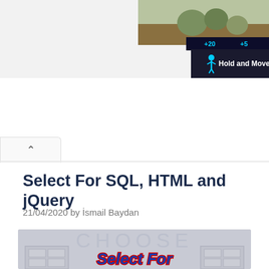[Figure (screenshot): Top banner area with outdoor/nature background image on the right and a dark 'Hold and Move' game UI element with score indicators showing +20 and +5]
Select For SQL, HTML and jQuery
21/04/2020 by İsmail Baydan
[Figure (photo): Featured article image showing white/grey doors with 'CHOOSE' embossed text above and 'Select For' text overlay in bold blue italic with red outline, partially visible bottom text]